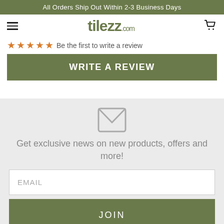All Orders Ship Out Within 2-3 Business Days
[Figure (logo): Tilezz.com logo with hamburger menu and cart icon]
Be the first to write a review
WRITE A REVIEW
Get exclusive news on new products, offers and more!
EMAIL
JOIN